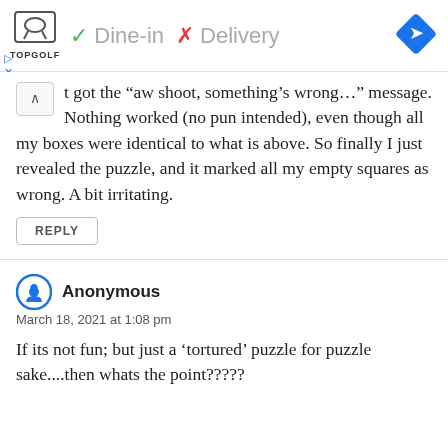[Figure (screenshot): Advertisement banner for Topgolf showing logo, green checkmark with 'Dine-in', red X with 'Delivery', and a blue navigation diamond icon on the right.]
t got the “aw shoot, something’s wrong…” message. Nothing worked (no pun intended), even though all my boxes were identical to what is above. So finally I just revealed the puzzle, and it marked all my empty squares as wrong. A bit irritating.
REPLY
Anonymous
March 18, 2021 at 1:08 pm
If its not fun; but just a ‘tortured’ puzzle for puzzle sake....then whats the point?????